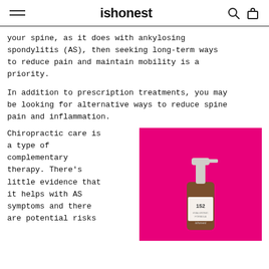ishonest
your spine, as it does with ankylosing spondylitis (AS), then seeking long-term ways to reduce pain and maintain mobility is a priority.
In addition to prescription treatments, you may be looking for alternative ways to reduce spine pain and inflammation.
Chiropractic care is a type of complementary therapy. There’s little evidence that it helps with AS symptoms and there are potential risks
[Figure (photo): Product bottle labeled '152 ishonest' on a bright pink/magenta background]